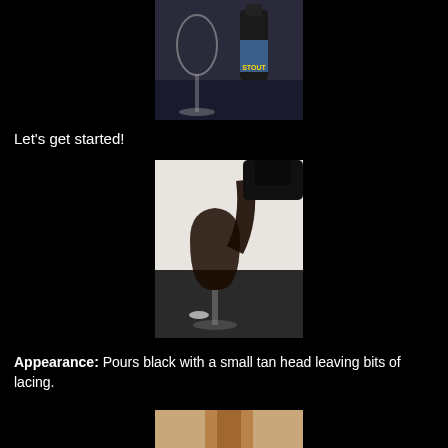[Figure (photo): Empty wine glass next to a dark bottle of stout beer on a dark surface]
Let’s get started!
[Figure (photo): Dark beer being poured from a bottle into a wine glass, with a bottle cap on the dark table surface]
Appearance: Pours black with a small tan head leaving bits of lacing.
[Figure (photo): Partial view of a beer bottle, cropped at bottom of page]